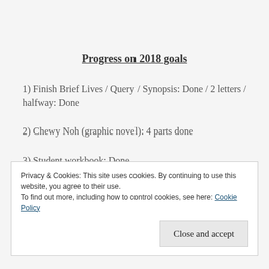Progress on 2018 goals
1) Finish Brief Lives / Query / Synopsis: Done / 2 letters / halfway: Done
2) Chewy Noh (graphic novel): 4 parts done
3) Student workbook: Done
Privacy & Cookies: This site uses cookies. By continuing to use this website, you agree to their use.
To find out more, including how to control cookies, see here: Cookie Policy
Close and accept